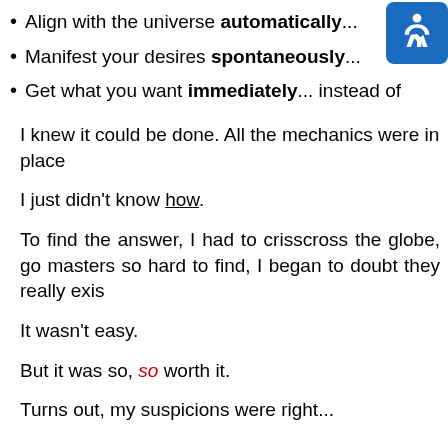Align with the universe automatically...
Manifest your desires spontaneously...
Get what you want immediately... instead of
I knew it could be done. All the mechanics were in place
I just didn't know how.
To find the answer, I had to crisscross the globe, go masters so hard to find, I began to doubt they really exis
It wasn't easy.
But it was so, so worth it.
Turns out, my suspicions were right...